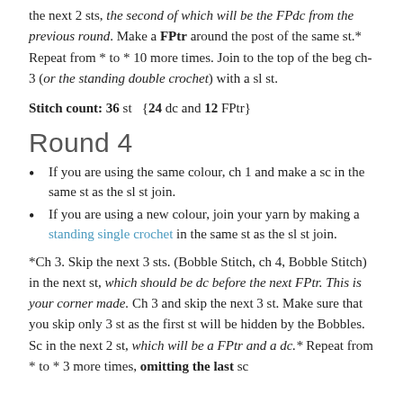the next 2 sts, the second of which will be the FPdc from the previous round. Make a FPtr around the post of the same st.* Repeat from * to * 10 more times. Join to the top of the beg ch-3 (or the standing double crochet) with a sl st.
Stitch count: 36 st {24 dc and 12 FPtr}
Round 4
If you are using the same colour, ch 1 and make a sc in the same st as the sl st join.
If you are using a new colour, join your yarn by making a standing single crochet in the same st as the sl st join.
*Ch 3. Skip the next 3 sts. (Bobble Stitch, ch 4, Bobble Stitch) in the next st, which should be dc before the next FPtr. This is your corner made. Ch 3 and skip the next 3 st. Make sure that you skip only 3 st as the first st will be hidden by the Bobbles. Sc in the next 2 st, which will be a FPtr and a dc.* Repeat from * to * 3 more times, omitting the last sc